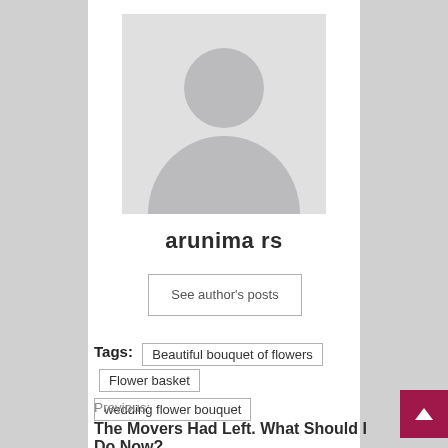[Figure (illustration): Default user avatar placeholder: gray square with silhouette (circle head and rounded body) on light gray background]
arunima rs
See author's posts
Tags: Beautiful bouquet of flowers | Flower basket | wedding flower bouquet
Previous:
The Movers Had Left. What Should I Do Now?